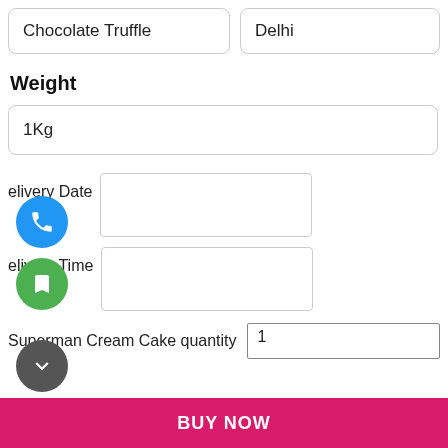Chocolate Truffle
Delhi
Weight
1Kg
elivery Date
elivery Time
Superman Cream Cake quantity
1
BUY NOW